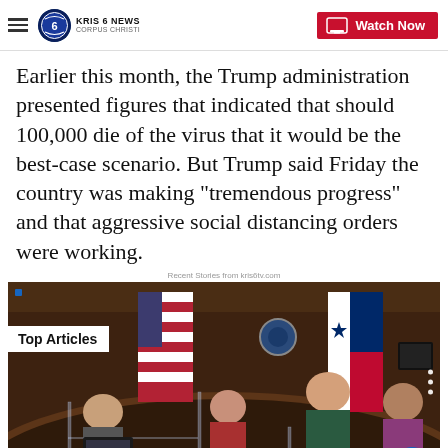KRIS 6 NEWS CORPUS CHRISTI — Watch Now
Earlier this month, the Trump administration presented figures that indicated that should 100,000 die of the virus that it would be the best-case scenario. But Trump said Friday the country was making "tremendous progress" and that aggressive social distancing orders were working.
Recent Stories from kris6v.com
[Figure (photo): Courtroom scene with people seated behind a curved desk, American flag and Texas flag visible in the background, plexiglass dividers in the foreground. Overlay text reads 'Top Articles'.]